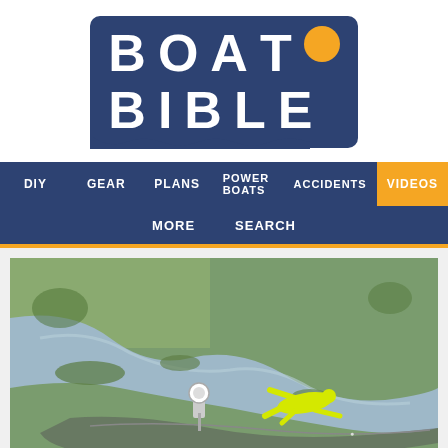[Figure (logo): Boat Bible logo — dark navy blue rounded rectangle with white bold text 'BOAT BIBLE' and an orange circle replacing the O in BOAT]
[Figure (screenshot): Website navigation bar with dark navy background showing menu items: DIY, GEAR, PLANS, POWER BOATS, ACCIDENTS, VIDEOS (highlighted in orange), MORE, SEARCH]
[Figure (photo): Aerial photograph of a boat racing course with a winding waterway through green grass, a person in a yellow racing suit lying on the ground near the track edge, and spectators visible at the bottom]